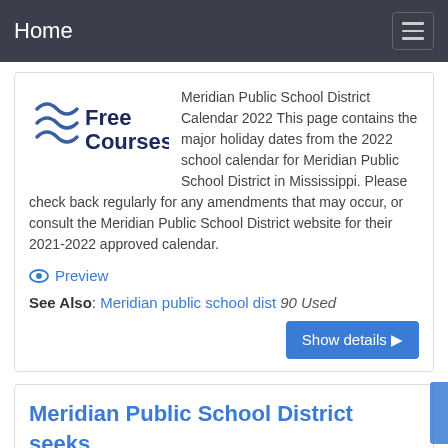Home
[Figure (logo): Free Courses logo with stylized blue wave lines on the left and 'Free Courses' text in dark blue]
Meridian Public School District Calendar 2022 This page contains the major holiday dates from the 2022 school calendar for Meridian Public School District in Mississippi. Please check back regularly for any amendments that may occur, or consult the Meridian Public School District website for their 2021-2022 approved calendar.
Preview
See Also: Meridian public school dist 90 Used
Show details ▶
Meridian Public School District seeks